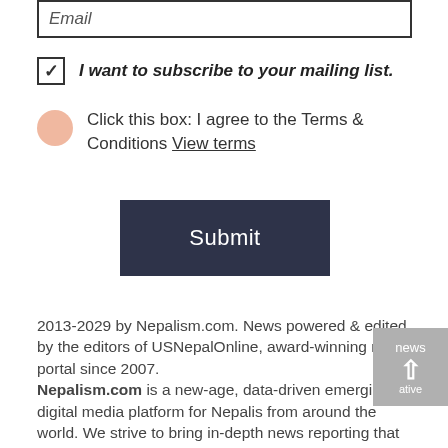Email
I want to subscribe to your mailing list.
Click this box: I agree to the Terms & Conditions View terms
Submit
2013-2029 by Nepalism.com. News powered & edited by the editors of USNepalOnline, award-winning news portal since 2007. Nepalism.com is a new-age, data-driven emerging digital media platform for Nepalis from around the world. We strive to bring in-depth news reporting that matters to our readers and aim to become online marketplace leader with innovative offerings to our digital-age, tech-savvy consumers. नेपालीजम (Nepalism.com) डट कम, नौलो प्रविधीको प्रयोग गर्दै नेपालीत्व र नेपालीपनको पहिचान र प्रवर्धनमा समर्पित प्रतिवद्ध नेपाली मिडिया हो । नेपालीजमलाई पाठकहरुले माया गर्ने इनेश भन्ने पूर्ण विश्वास